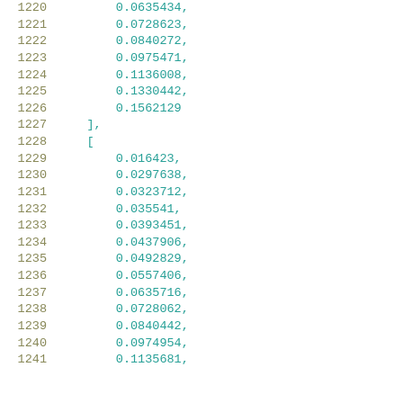Code listing lines 1220-1241 showing numeric array data
| line | code |
| --- | --- |
| 1220 | 0.0635434, |
| 1221 | 0.0728623, |
| 1222 | 0.0840272, |
| 1223 | 0.0975471, |
| 1224 | 0.1136008, |
| 1225 | 0.1330442, |
| 1226 | 0.1562129 |
| 1227 | ], |
| 1228 | [ |
| 1229 | 0.016423, |
| 1230 | 0.0297638, |
| 1231 | 0.0323712, |
| 1232 | 0.035541, |
| 1233 | 0.0393451, |
| 1234 | 0.0437906, |
| 1235 | 0.0492829, |
| 1236 | 0.0557406, |
| 1237 | 0.0635716, |
| 1238 | 0.0728062, |
| 1239 | 0.0840442, |
| 1240 | 0.0974954, |
| 1241 | 0.1135681, |